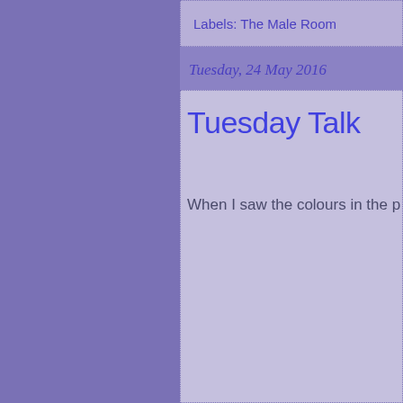Labels: The Male Room
Tuesday, 24 May 2016
Tuesday Talk
When I saw the colours in the p